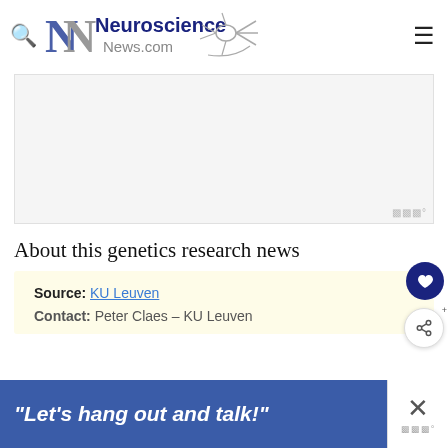[Figure (logo): Neuroscience News.com logo with stylized N letters and neuron graphic]
[Figure (other): Advertisement placeholder box (light gray)]
About this genetics research news
Source: KU Leuven
Contact: Peter Claes – KU Leuven
[Figure (other): Banner advertisement: "Let's hang out and talk!" in white italic text on blue background]